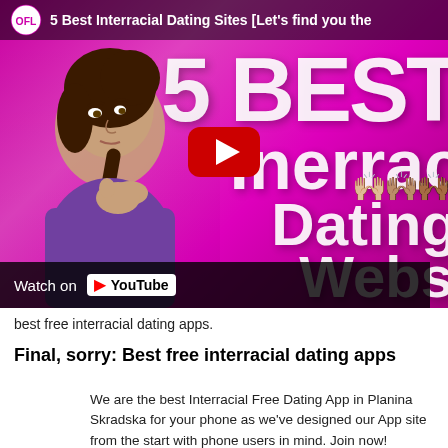[Figure (screenshot): YouTube video thumbnail for '5 Best Interracial Dating Sites [Let's find you the...]' showing a woman thinking against a pink/magenta background with large white text reading '5 BEST Interracial Dating Webs...' and a YouTube play button in the center. Bottom bar shows 'Watch on YouTube'.]
best free interracial dating apps.
Final, sorry: Best free interracial dating apps
We are the best Interracial Free Dating App in Planina Skradska for your phone as we've designed our App site from the start with phone users in mind. Join now! Interracial Dating App in Postal Codes